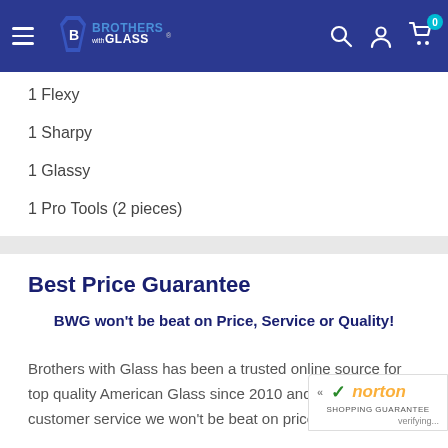Brothers with Glass - navigation header
1 Flexy
1 Sharpy
1 Glassy
1 Pro Tools (2 pieces)
Best Price Guarantee
BWG won't be beat on Price, Service or Quality!
Brothers with Glass has been a trusted online source for top quality American Glass since 2010 and just like our customer service we won't be beat on prices. Each